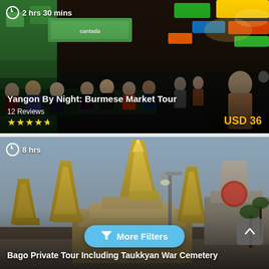[Figure (photo): Night market street scene in Yangon with people dining at outdoor tables, illuminated by colorful neon signs. Shows tourists and locals eating together on a busy street.]
2 hrs 30 mins
Yangon By Night: Burmese Market Tour
12 Reviews
★★★★½
USD 36
[Figure (photo): Golden pagoda spires of a Buddhist temple in Bago, Myanmar, against a hazy sky with a street lamp visible.]
8 hrs
Bago Private Tour Including Taukkyan War Cemetery
More Filters